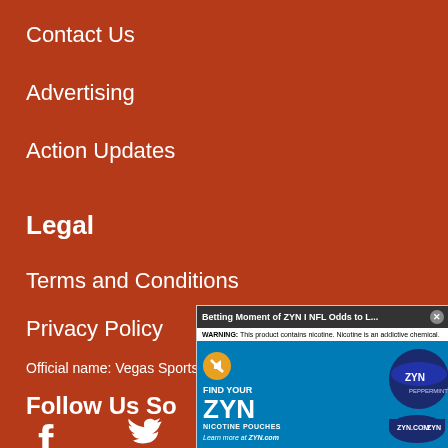Contact Us
Advertising
Action Updates
Legal
Terms and Conditions
Privacy Policy
Official name: Vegas Sports Information Network, Inc.
Follow Us So...
[Figure (screenshot): ZYN nicotine pouches advertisement overlay with title bar 'Betting Moment of ZYN | NFL Odds to L...' and a close button. Contains WARNING text, mute button, 'FIND YOUR ZYN NICOTINE POUCHES' text, and ZYN product tin image. Bottom text: 'Learn more at ZYN.com']
[Figure (illustration): Social media icons: Facebook, Twitter, Instagram, YouTube in white on dark red background]